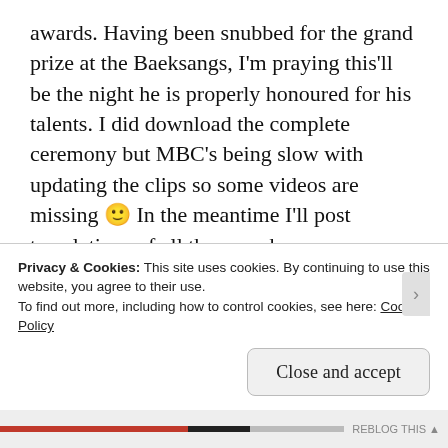awards. Having been snubbed for the grand prize at the Baeksangs, I'm praying this'll be the night he is properly honoured for his talents. I did download the complete ceremony but MBC's being slow with updating the clips so some videos are missing 🙂 In the meantime I'll post translations of all the speeches.
EDIT: JISUNG WON THE DAESANG PEOPLE!
The hosts for the night Shin Dongyup and actress Lee Sungkyung (who did an opening song and dance for the ceremony) did start off by telling winners to try and make their speeches as brief as
Privacy & Cookies: This site uses cookies. By continuing to use this website, you agree to their use.
To find out more, including how to control cookies, see here: Cookie Policy
Close and accept